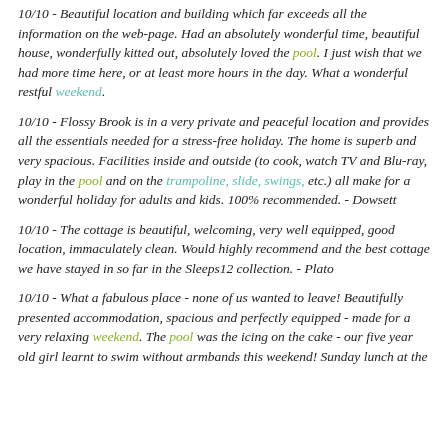10/10 - Beautiful location and building which far exceeds all the information on the web-page. Had an absolutely wonderful time, beautiful house, wonderfully kitted out, absolutely loved the pool. I just wish that we had more time here, or at least more hours in the day. What a wonderful restful weekend.
10/10 - Flossy Brook is in a very private and peaceful location and provides all the essentials needed for a stress-free holiday. The home is superb and very spacious. Facilities inside and outside (to cook, watch TV and Blu-ray, play in the pool and on the trampoline, slide, swings, etc.) all make for a wonderful holiday for adults and kids. 100% recommended. - Dowsett
10/10 - The cottage is beautiful, welcoming, very well equipped, good location, immaculately clean. Would highly recommend and the best cottage we have stayed in so far in the Sleeps12 collection. - Plato
10/10 - What a fabulous place - none of us wanted to leave! Beautifully presented accommodation, spacious and perfectly equipped - made for a very relaxing weekend. The pool was the icing on the cake - our five year old girl learnt to swim without armbands this weekend! Sunday lunch at the